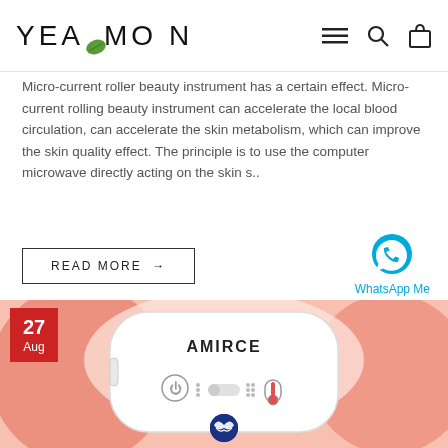YEAMON
Micro-current roller beauty instrument has a certain effect. Micro-current rolling beauty instrument can accelerate the local blood circulation, can accelerate the skin metabolism, which can improve the skin quality effect. The principle is to use the computer microwave directly acting on the skin s..
READ MORE →
[Figure (photo): WhatsApp Me button with WhatsApp icon (blue speech bubble with phone)]
[Figure (photo): AMIRCE brand heat/massage belt device shown against red-lit skin background, white rounded-rectangle device with power button, level indicator, and temperature icon, with blue butterfly logo button at the bottom center. Date badge showing 27 Aug in red.]